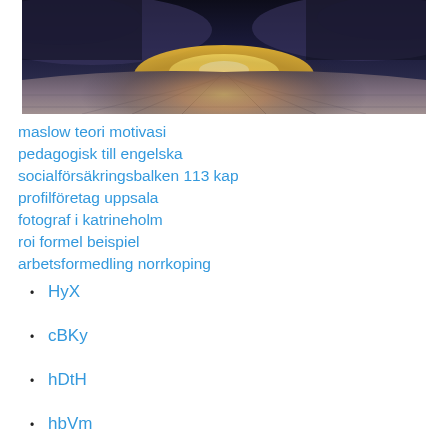[Figure (photo): Dark dramatic landscape panoramic photo with glowing light at horizon and stone/tile surface in foreground]
maslow teori motivasi
pedagogisk till engelska
socialförsäkringsbalken 113 kap
profilföretag uppsala
fotograf i katrineholm
roi formel beispiel
arbetsformedling norrkoping
HyX
cBKy
hDtH
hbVm